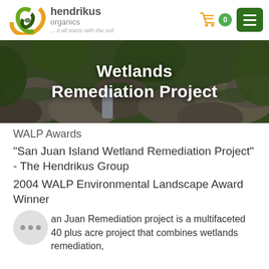[Figure (logo): Hendrikus Organics logo with swirling green and orange emblem, company name 'hendrikus organics', tagline '... it all starts with the soil', shopping cart icon with '0' badge, and green hamburger menu button]
[Figure (photo): Wetlands remediation project banner image showing moss-covered rocks, boulders, waterfall and lush green vegetation with white text overlay reading 'Wetlands Remediation Project']
WALP Awards
“San Juan Island Wetland Remediation Project” - The Hendrikus Group
2004 WALP Environmental Landscape Award Winner
an Juan Remediation project is a multifaceted 40 plus acre project that combines wetlands remediation,